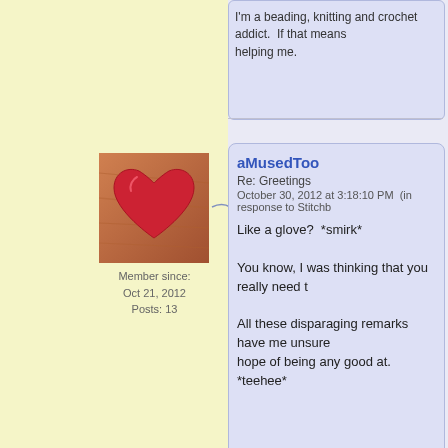I'm a beading, knitting and crochet addict. If that means helping me.
[Figure (photo): Profile avatar showing a wooden heart shape painted red/pink]
Member since: Oct 21, 2012
Posts: 13
aMusedToo
Re: Greetings
October 30, 2012 at 3:18:10 PM  (in response to Stitchb...
Like a glove?  *smirk*

You know, I was thinking that you really need t...

All these disparaging remarks have me unsure... hope of being any good at. *teehee*
[Figure (photo): Profile avatar showing a cat face, tabby cat looking sideways]
Look at that smile! (Photo guaranteed unretouched)
Member since: Jul 1, 2009
Posts: 4525
Stitchboard Admin
Re: Greetings
October 31, 2012 at 1:33:06 AM  (in response to aMuse...
ROFL!  I'm sorry...it's my character flaw...I just...

Hmm, have you thought about trying...knitting?...

I still can't believe you're a beginner!  That is s... own patterns soon!  If I could have knit that we...